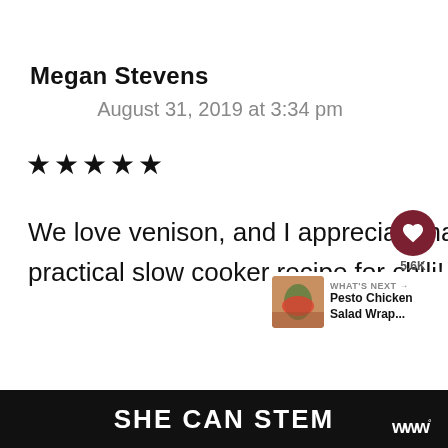Megan Stevens
August 31, 2019 at 3:34 pm
★★★★★
We love venison, and I appreciate having such a practical slow cooker recipe for chili! Thank you!
[Figure (infographic): Heart/like button with dark red background showing 5.6K count, and a share button below it]
[Figure (infographic): WHAT'S NEXT arrow label with food photo thumbnail and text: Pesto Chicken Salad Wrap...]
SHE CAN STEM